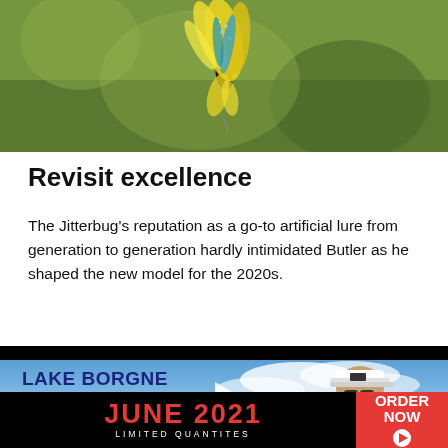[Figure (photo): Close-up photo of a colorful fishing fly lure (yellow and blue feathers) against a blurred green background]
Revisit excellence
The Jitterbug's reputation as a go-to artificial lure from generation to generation hardly intimidated Butler as he shaped the new model for the 2020s.
[Figure (screenshot): Video thumbnail showing 'LAKE BORGNE TRIPLE TAIL' text with a man wearing a visor/cap against a sky background, with a play button overlay]
[Figure (infographic): Advertisement banner: JUNE 2021 LIMITED QUANTITES with ORDER NOW button in red]